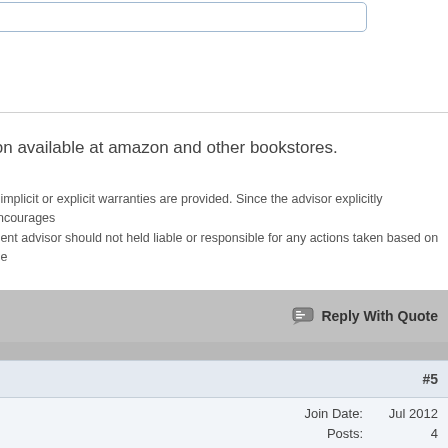ion available at amazon and other bookstores.
o implicit or explicit warranties are provided. Since the advisor explicitly encourages ment advisor should not held liable or responsible for any actions taken based on the
Reply With Quote
#5
Join Date: Jul 2012
Posts: 4
s 1,2,3 if I was to bosco123 and APPS.APP_IDs 2,3 if I was